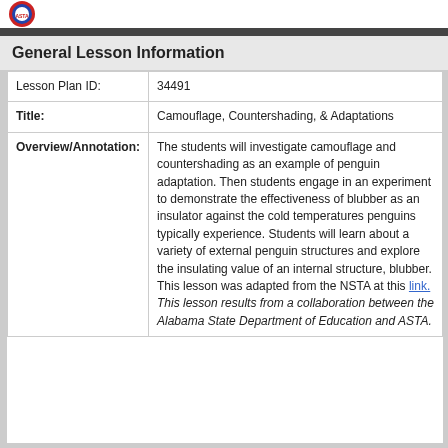[Figure (logo): Circular logo with red/blue/white design in top-left corner]
General Lesson Information
| Lesson Plan ID: | 34491 |
| Title: | Camouflage, Countershading, & Adaptations |
| Overview/Annotation: | The students will investigate camouflage and countershading as an example of penguin adaptation. Then students engage in an experiment to demonstrate the effectiveness of blubber as an insulator against the cold temperatures penguins typically experience. Students will learn about a variety of external penguin structures and explore the insulating value of an internal structure, blubber.
This lesson was adapted from the NSTA at this link.
This lesson results from a collaboration between the Alabama State Department of Education and ASTA. |